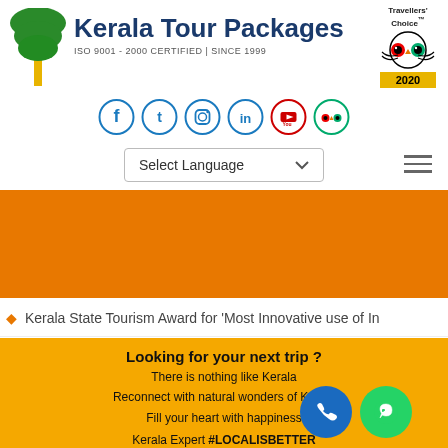[Figure (logo): Kerala Tour Packages logo with tree illustration and brand name]
[Figure (logo): TripAdvisor Travellers Choice 2020 badge]
[Figure (infographic): Social media icons: Facebook, Twitter, Instagram, LinkedIn, YouTube, TripAdvisor]
Select Language
[Figure (photo): Orange banner background image area]
Kerala State Tourism Award for 'Most Innovative use of In
Looking for your next trip ? There is nothing like Kerala Reconnect with natural wonders of Kerala Fill your heart with happiness Kerala Expert #LOCALISBETTER ✓ Uninterrupted 5Star rated services